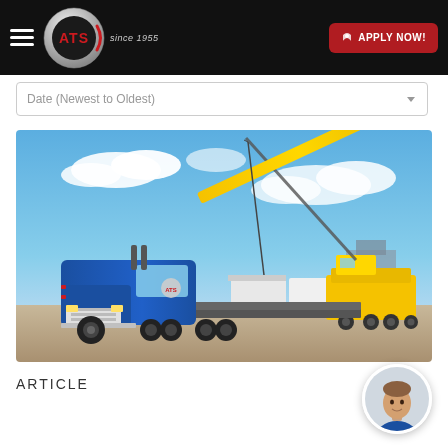ATS since 1955 | APPLY NOW!
Date (Newest to Oldest)
[Figure (photo): Blue ATS semi-truck on a job site with a large yellow crane extending overhead against a blue sky with clouds]
ARTICLE
[Figure (photo): Circular avatar portrait of a man in a blue jacket]